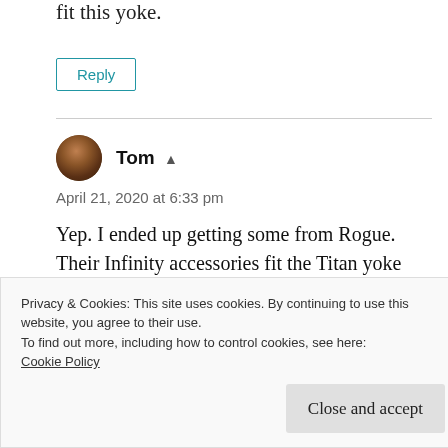fit this yoke.
Reply
Tom
April 21, 2020 at 6:33 pm
Yep. I ended up getting some from Rogue. Their Infinity accessories fit the Titan yoke well for the most part.
Privacy & Cookies: This site uses cookies. By continuing to use this website, you agree to their use.
To find out more, including how to control cookies, see here:
Cookie Policy
Close and accept